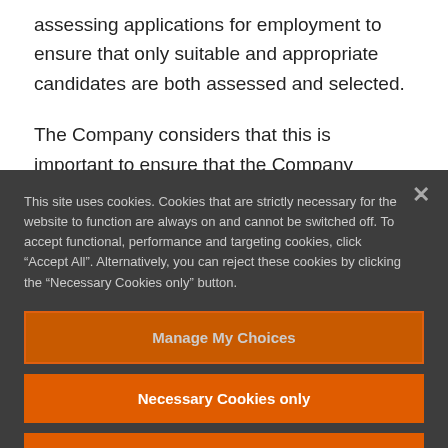assessing applications for employment to ensure that only suitable and appropriate candidates are both assessed and selected.
The Company considers that this is important to ensure that the Company identifies the right people for its business who will be
This site uses cookies. Cookies that are strictly necessary for the website to function are always on and cannot be switched off. To accept functional, performance and targeting cookies, click “Accept All”. Alternatively, you can reject these cookies by clicking the “Necessary Cookies only” button.
Manage My Choices
Necessary Cookies only
Accept All